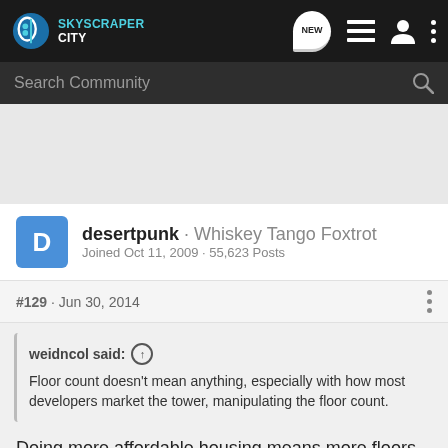SkyscraperCity
Search Community
desertpunk · Whiskey Tango Foxtrot
Joined Oct 11, 2009 · 55,623 Posts
#129 · Jun 30, 2014
weidncol said: ↑
Floor count doesn't mean anything, especially with how most developers market the tower, manipulating the floor count.
Doing more affordable housing means more floors than all-